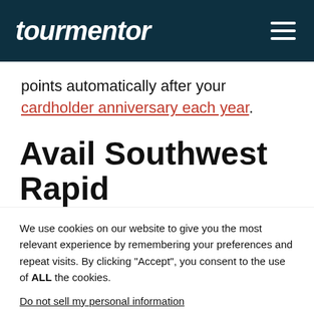tourmentor
points automatically after your cardholder anniversary each year.
Avail Southwest Rapid Rewards Card Invitation:
We use cookies on our website to give you the most relevant experience by remembering your preferences and repeat visits. By clicking “Accept”, you consent to the use of ALL the cookies.
Do not sell my personal information.
Settings  Accept